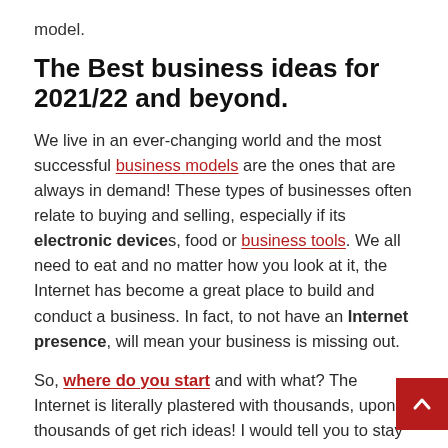model.
The Best business ideas for 2021/22 and beyond.
We live in an ever-changing world and the most successful business models are the ones that are always in demand! These types of businesses often relate to buying and selling, especially if its electronic devices, food or business tools. We all need to eat and no matter how you look at it, the Internet has become a great place to build and conduct a business. In fact, to not have an Internet presence, will mean your business is missing out.
So, where do you start and with what? The Internet is literally plastered with thousands, upon thousands of get rich ideas! I would tell you to stay clear of that, what this review is about is how to start in a online business. A